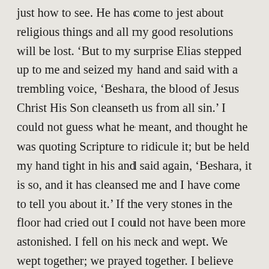just how to see. He has come to jest about religious things and all my good resolutions will be lost. ‘But to my surprise Elias stepped up to me and seized my hand and said with a trembling voice, ‘Beshara, the blood of Jesus Christ His Son cleanseth us from all sin.’ I could not guess what he meant, and thought he was quoting Scripture to ridicule it; but be held my hand tight in his and said again, ‘Beshara, it is so, and it has cleansed me and I have come to tell you about it.’ If the very stones in the floor had cried out I could not have been more astonished. I fell on his neck and wept. We wept together; we prayed together. I believe that God sent him there at that very hour to bring me to Christ. The Saviour Himself seemed to be present. Oh, sir, such an hour I have never known I Well, after we had prayed a